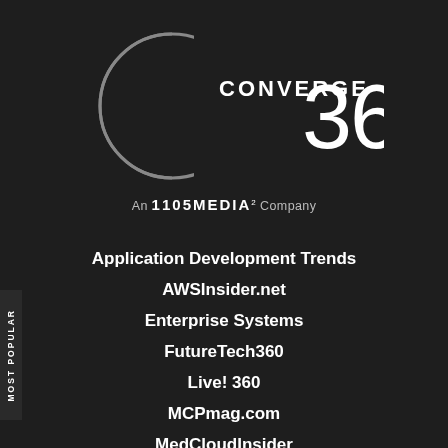[Figure (logo): Converge 360 logo with circular arc graphic and '360' large numeral, white on dark background]
An 1105 MEDIA² Company
Application Development Trends
AWSInsider.net
Enterprise Systems
FutureTech360
Live! 360
MCPmag.com
MedCloudInsider
Prophyts
Pure AI
MOST POPULAR